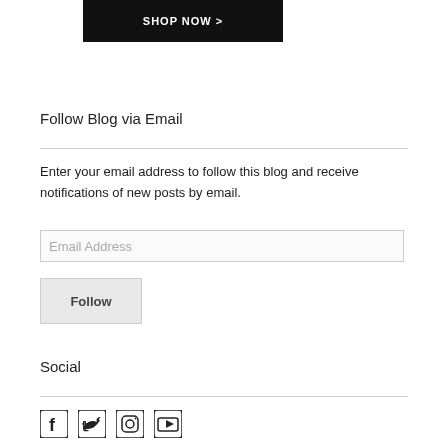[Figure (screenshot): Shop Now button/banner with dark background and white text 'SHOP NOW >']
Follow Blog via Email
Enter your email address to follow this blog and receive notifications of new posts by email.
Email Address (input field placeholder)
Follow (button)
Social
[Figure (illustration): Social media icons: Facebook, Twitter, Instagram, YouTube]